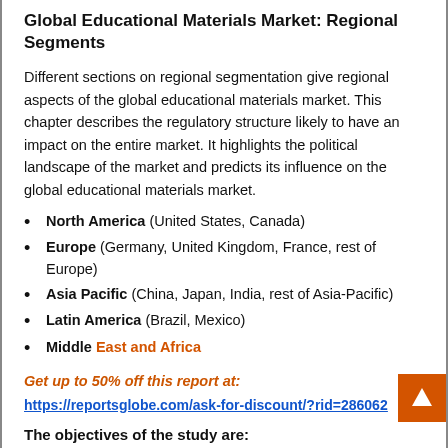Global Educational Materials Market: Regional Segments
Different sections on regional segmentation give regional aspects of the global educational materials market. This chapter describes the regulatory structure likely to have an impact on the entire market. It highlights the political landscape of the market and predicts its influence on the global educational materials market.
North America (United States, Canada)
Europe (Germany, United Kingdom, France, rest of Europe)
Asia Pacific (China, Japan, India, rest of Asia-Pacific)
Latin America (Brazil, Mexico)
Middle East and Africa
Get up to 50% off this report at:
https://reportsglobe.com/ask-for-discount/?rid=286062
The objectives of the study are: